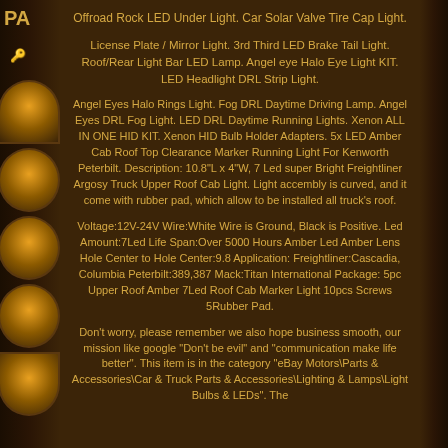Offroad Rock LED Under Light. Car Solar Valve Tire Cap Light.
License Plate / Mirror Light. 3rd Third LED Brake Tail Light. Roof/Rear Light Bar LED Lamp. Angel eye Halo Eye Light KIT. LED Headlight DRL Strip Light.
Angel Eyes Halo Rings Light. Fog DRL Daytime Driving Lamp. Angel Eyes DRL Fog Light. LED DRL Daytime Running Lights. Xenon ALL IN ONE HID KIT. Xenon HID Bulb Holder Adapters. 5x LED Amber Cab Roof Top Clearance Marker Running Light For Kenworth Peterbilt. Description: 10.8"L x 4"W, 7 Led super Bright Freightliner Argosy Truck Upper Roof Cab Light. Light accembly is curved, and it come with rubber pad, which allow to be installed all truck's roof.
Voltage:12V-24V Wire:White Wire is Ground, Black is Positive. Led Amount:7Led Life Span:Over 5000 Hours Amber Led Amber Lens Hole Center to Hole Center:9.8 Application: Freightliner:Cascadia, Columbia Peterbilt:389,387 Mack:Titan International Package: 5pc Upper Roof Amber 7Led Roof Cab Marker Light 10pcs Screws 5Rubber Pad.
Don't worry, please remember we also hope business smooth, our mission like google "Don't be evil" and "communication make life better". This item is in the category "eBay Motors\Parts & Accessories\Car & Truck Parts & Accessories\Lighting & Lamps\Light Bulbs & LEDs". The